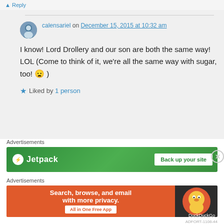↑ Reply
calensariel on December 15, 2015 at 10:32 am
I know! Lord Drollery and our son are both the same way! LOL (Come to think of it, we're all the same way with sugar, too! 😦 )
★ Liked by 1 person
Advertisements
[Figure (screenshot): Jetpack advertisement banner with green background showing logo and 'Back up your site' button]
Advertisements
[Figure (screenshot): DuckDuckGo advertisement: 'Search, browse, and email with more privacy. All in One Free App' on orange background with DuckDuckGo logo on dark background]